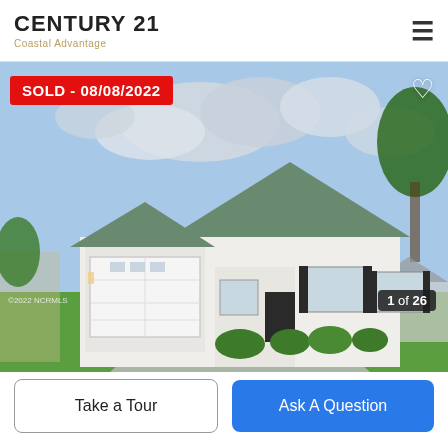CENTURY 21 Coastal Advantage
[Figure (photo): Exterior photo of a single-story white ranch-style house with gray roof, two-car garage, front porch, dark shutters, green lawn, and concrete driveway. Sky is partly cloudy. A fence and neighbor's house are visible on the left. Image is labeled SOLD - 08/08/2022 with a red badge in the upper left. Counter shows 1 of 26 in bottom right corner. Copyright 2022 NCRMLS in bottom left.]
Take a Tour
Ask A Question